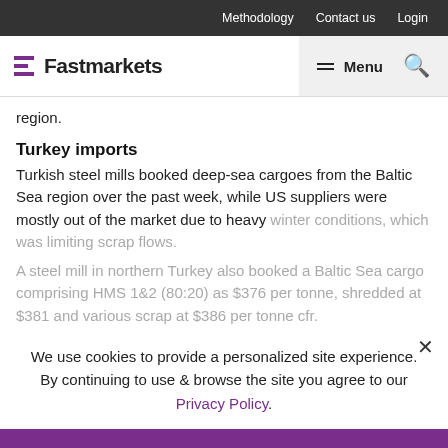Methodology   Contact us   Login
Fastmarkets   Menu  🔍
region.
Turkey imports
Turkish steel mills booked deep-sea cargoes from the Baltic Sea region over the past week, while US suppliers were mostly out of the market due to heavy winter conditions, which was limiting scrap flows.
A steel mill in northern Turkey also booked a Baltic Sea cargo comprising HMS 1&2 (80:20) as $376 per tonne, shredded at $381 and various scrap at $386 per tonne cfr.
We use cookies to provide a personalized site experience.
By continuing to use & browse the site you agree to our Privacy Policy.
Proceed
comprising 12,000 tonnes of HMS 1&2 (80:20) at $375